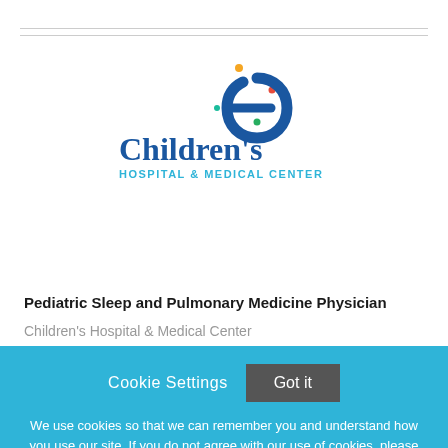[Figure (logo): Children's Hospital & Medical Center logo with a blue spiral 'e' and colorful dots]
Pediatric Sleep and Pulmonary Medicine Physician
Children's Hospital & Medical Center
Cookie Settings  Got it
We use cookies so that we can remember you and understand how you use our site. If you do not agree with our use of cookies, please change the current settings found in our Cookie Policy. Otherwise, you agree to the use of the cookies as they are currently set.